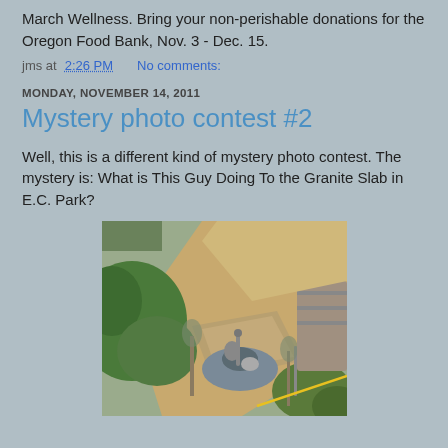March Wellness. Bring your non-perishable donations for the Oregon Food Bank, Nov. 3 - Dec. 15.
jms at 2:26 PM   No comments:
MONDAY, NOVEMBER 14, 2011
Mystery photo contest #2
Well, this is a different kind of mystery photo contest. The mystery is: What is This Guy Doing To the Granite Slab in E.C. Park?
[Figure (photo): Aerial view of a person working on or near a granite slab in E.C. Park, surrounded by paved paths, green bushes, bare trees, and yellow caution tape.]